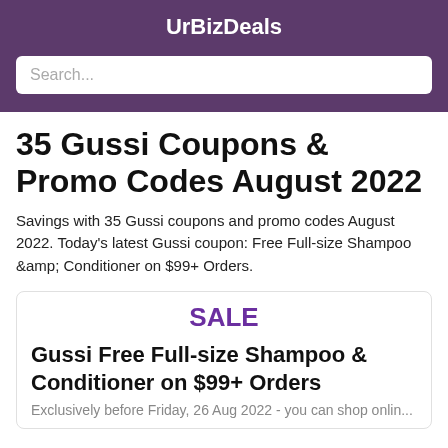UrBizDeals
35 Gussi Coupons & Promo Codes August 2022
Savings with 35 Gussi coupons and promo codes August 2022. Today's latest Gussi coupon: Free Full-size Shampoo &amp; Conditioner on $99+ Orders.
SALE
Gussi Free Full-size Shampoo & Conditioner on $99+ Orders
Exclusively before Friday, 26 Aug 2022 - you can shop onlin...